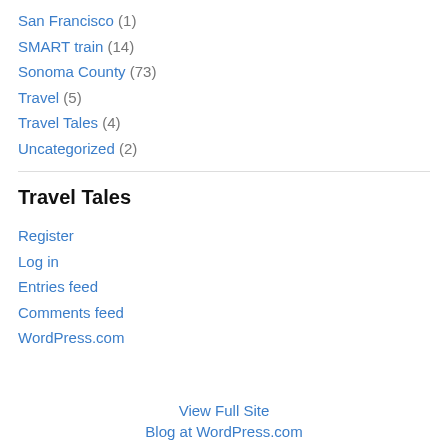San Francisco (1)
SMART train (14)
Sonoma County (73)
Travel (5)
Travel Tales (4)
Uncategorized (2)
Travel Tales
Register
Log in
Entries feed
Comments feed
WordPress.com
View Full Site
Blog at WordPress.com